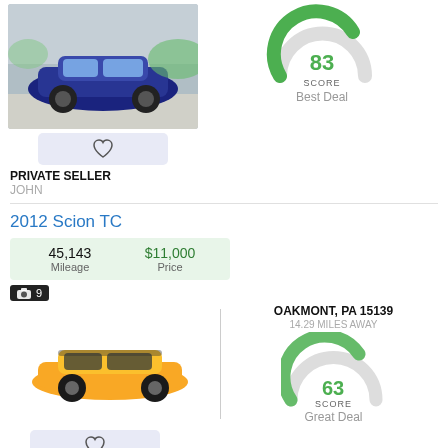[Figure (photo): Blue car photo thumbnail]
[Figure (other): Gauge showing score 83, Best Deal]
PRIVATE SELLER
JOHN
2012 Scion TC
| Mileage | Price |
| --- | --- |
| 45,143 | $11,000 |
📷 9
[Figure (photo): Yellow Scion TC car photo]
OAKMONT, PA 15139
14.29 MILES AWAY
[Figure (other): Gauge showing score 63, Great Deal]
PRIVATE SELLER
DANIEL
2002 Chevrolet Suburban